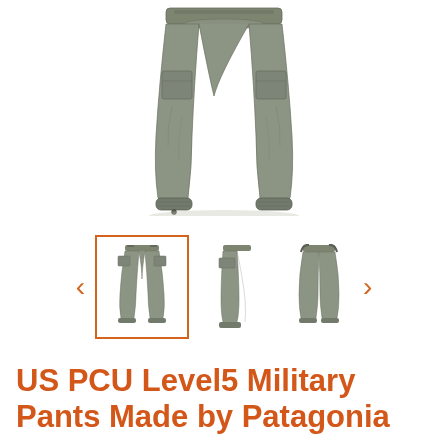[Figure (photo): Main product photo of olive/sage green US PCU Level5 Military Pants by Patagonia, laid flat on white background showing front view with elastic cuffed ankles and cargo pockets]
[Figure (photo): Thumbnail strip showing three views of the pants: front (selected, highlighted with orange border), side/folded view, and back view. Navigation arrows on left and right.]
US PCU Level5 Military Pants Made by Patagonia